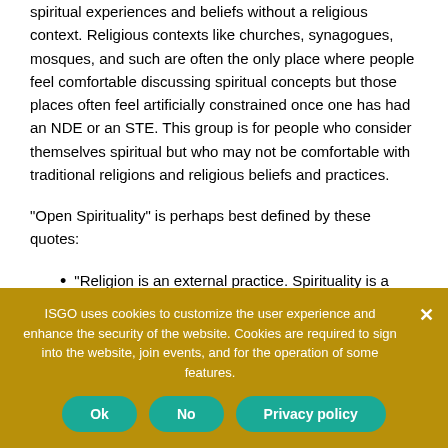spiritual experiences and beliefs without a religious context. Religious contexts like churches, synagogues, mosques, and such are often the only place where people feel comfortable discussing spiritual concepts but those places often feel artificially constrained once one has had an NDE or an STE. This group is for people who consider themselves spiritual but who may not be comfortable with traditional religions and religious beliefs and practices.
“Open Spirituality” is perhaps best defined by these quotes:
“Religion is an external practice. Spirituality is a state of mind.”
ISGO uses cookies to customize the user experience and enhance the security of the website. Cookies are required to sign into the website, join events, and for the operation of some features.